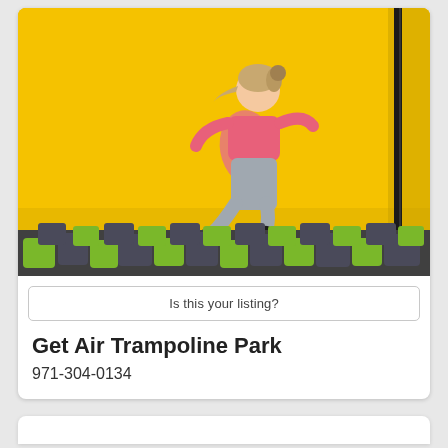[Figure (photo): A girl wearing a pink shirt and gray pants jumping in a trampoline park with a bright yellow background wall and colorful foam pit blocks (green and purple) at the bottom.]
Is this your listing?
Get Air Trampoline Park
971-304-0134